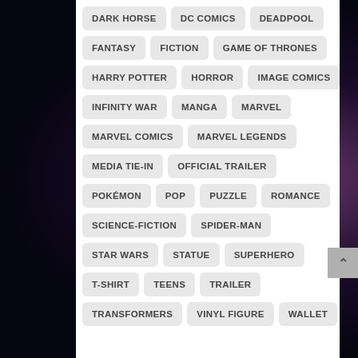DARK HORSE
DC COMICS
DEADPOOL
FANTASY
FICTION
GAME OF THRONES
HARRY POTTER
HORROR
IMAGE COMICS
INFINITY WAR
MANGA
MARVEL
MARVEL COMICS
MARVEL LEGENDS
MEDIA TIE-IN
OFFICIAL TRAILER
POKÉMON
POP
PUZZLE
ROMANCE
SCIENCE-FICTION
SPIDER-MAN
STAR WARS
STATUE
SUPERHERO
T-SHIRT
TEENS
TRAILER
TRANSFORMERS
VINYL FIGURE
WALLET